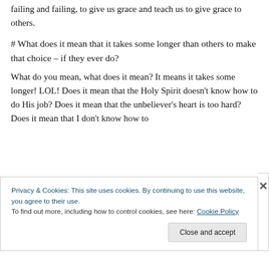failing and failing, to give us grace and teach us to give grace to others.
# What does it mean that it takes some longer than others to make that choice – if they ever do?
What do you mean, what does it mean? It means it takes some longer! LOL! Does it mean that the Holy Spirit doesn't know how to do His job? Does it mean that the unbeliever's heart is too hard? Does it mean that I don't know how to
Privacy & Cookies: This site uses cookies. By continuing to use this website, you agree to their use.
To find out more, including how to control cookies, see here: Cookie Policy